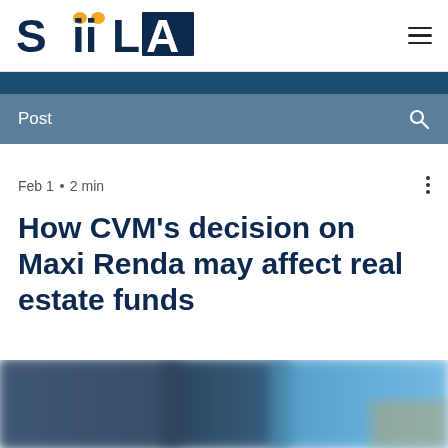[Figure (logo): SiiLA logo with orange dots above the two i letters and navy text]
Post
Feb 1  ·  2 min
How CVM's decision on Maxi Renda may affect real estate funds
[Figure (photo): Blurred abstract image with blue and teal tones, appears to be a real estate or urban photograph]